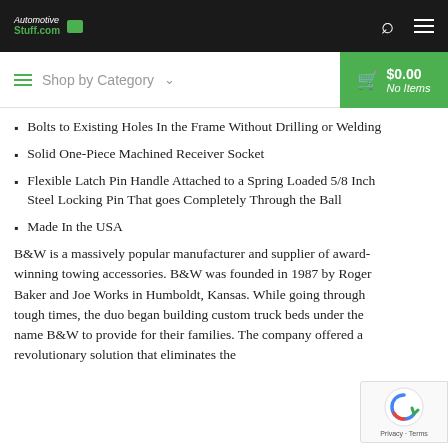AutomotiveStuff.com — Shop by Category | $0.00 No Items
Bolts to Existing Holes In the Frame Without Drilling or Welding
Solid One-Piece Machined Receiver Socket
Flexible Latch Pin Handle Attached to a Spring Loaded 5/8 Inch Steel Locking Pin That goes Completely Through the Ball
Made In the USA
B&W is a massively popular manufacturer and supplier of award-winning towing accessories. B&W was founded in 1987 by Roger Baker and Joe Works in Humboldt, Kansas. While going through tough times, the duo began building custom truck beds under the name B&W to provide for their families. The company offered a revolutionary solution that eliminates the